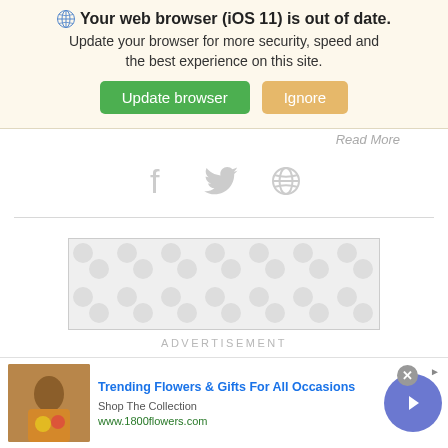Your web browser (iOS 11) is out of date. Update your browser for more security, speed and the best experience on this site.
Update browser | Ignore
Read More
[Figure (screenshot): Social sharing icons: Facebook (f), Twitter (bird), and a globe/share icon, all in light gray]
[Figure (other): Advertisement placeholder box with gray circular pattern on light gray background, labeled ADVERTISEMENT]
[Figure (other): Bottom banner ad for 1800flowers.com: Trending Flowers & Gifts For All Occasions, Shop The Collection, www.1800flowers.com, with a woman holding flowers photo and a blue arrow button]